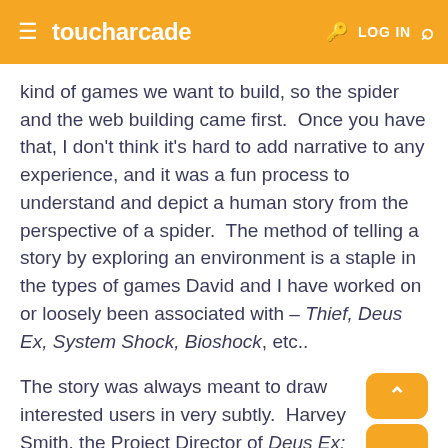toucharcade  LOG IN
kind of games we want to build, so the spider and the web building came first.  Once you have that, I don't think it's hard to add narrative to any experience, and it was a fun process to understand and depict a human story from the perspective of a spider.  The method of telling a story by exploring an environment is a staple in the types of games David and I have worked on or loosely been associated with – Thief, Deus Ex, System Shock, Bioshock, etc..
The story was always meant to draw interested users in very subtly.  Harvey Smith, the Project Director of Deus Ex: Invisible War and a brilliant game designer who is a friend and colleague of David's and mine, described the difference as a